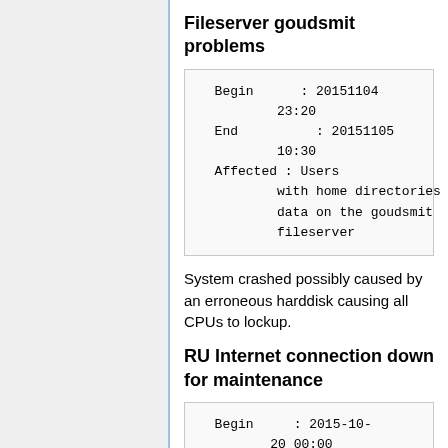Fileserver goudsmit problems
| Begin | : 20151104 23:20 |
| End | : 20151105 10:30 |
| Affected | : Users with home directories / data on the goudsmit fileserver |
System crashed possibly caused by an erroneous harddisk causing all CPUs to lockup.
RU Internet connection down for maintenance
| Begin | : 2015-10-20 00:00 |
| End | : 2015-10- |